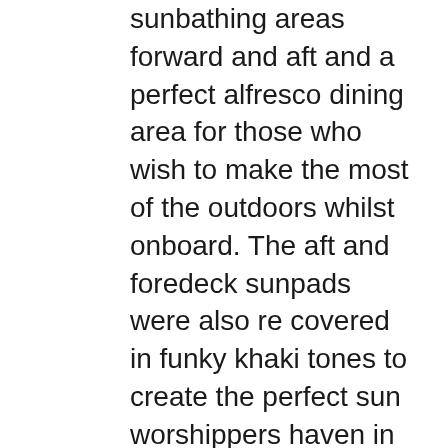sunbathing areas forward and aft and a perfect alfresco dining area for those who wish to make the most of the outdoors whilst onboard. The aft and foredeck sunpads were also re covered in funky khaki tones to create the perfect sun worshippers haven in pure style. Nothing less than would be expected on a luxury Mediterranean charter! If speed is your thing then this is the luxury yacht for your luxury vacation in the South of France. Achieving speeds of up to 34 knots, Cheeky Tiger will jet you from Monaco to St Tropez in almost no time. There no better way to beat the traffic and congestion that surrounds the hip and trendy resort of St Tropez where the jet set can be seen than to arrive by water. No more waiting in hours of traffic to reach your final destination. The